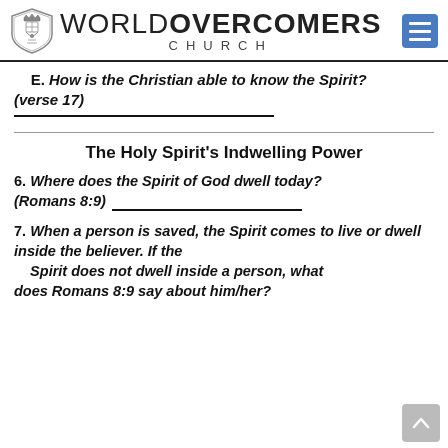[Figure (logo): World Overcomers Church logo with shield emblem and hamburger menu icon]
E. How is the Christian able to know the Spirit? (verse 17)___________________
The Holy Spirit's Indwelling Power
6. Where does the Spirit of God dwell today? (Romans 8:9) ______________________
7. When a person is saved, the Spirit comes to live or dwell inside the believer. If the Spirit does not dwell inside a person, what does Romans 8:9 say about him/her?